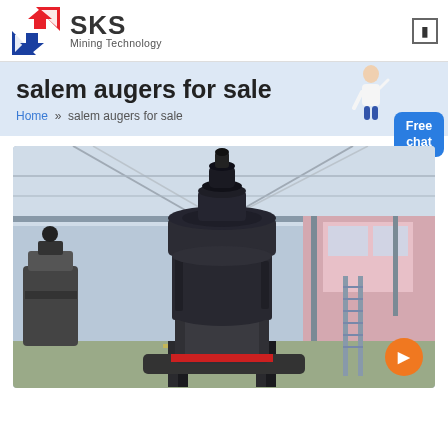SKS Mining Technology
salem augers for sale
Home » salem augers for sale
[Figure (photo): Industrial mining machine (vertical mill/grinder) inside a large factory/warehouse facility with steel roof trusses. The machine is dark grey/black with a red band, mounted on a heavy base, photographed in a well-lit industrial hall.]